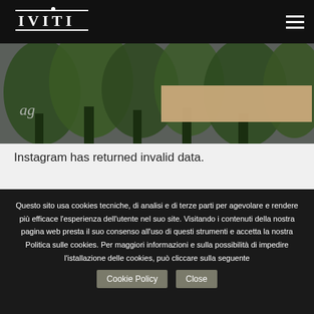IVITI
[Figure (photo): Outdoor forest/trees scene with a tan/beige overlay rectangle and partial text fragment visible]
Instagram has returned invalid data.
Questo sito usa cookies tecniche, di analisi e di terze parti per agevolare e rendere più efficace l'esperienza dell'utente nel suo site. Visitando i contenuti della nostra pagina web presta il suo consenso all'uso di questi strumenti e accetta la nostra Politica sulle cookies. Per maggiori informazioni e sulla possibilità di impedire l'istallazione delle cookies, può cliccare sulla seguente Cookie Policy  Close